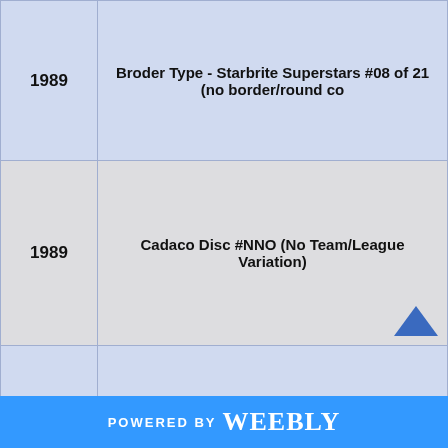| Year | Description |
| --- | --- |
| 1989 | Broder Type - Starbrite Superstars #08 of 21 (no border/round co... |
| 1989 | Cadaco Disc #NNO (No Team/League Variation) |
| 1989 | Cadaco Disc #NNO (Team/League Variation) |
POWERED BY weebly